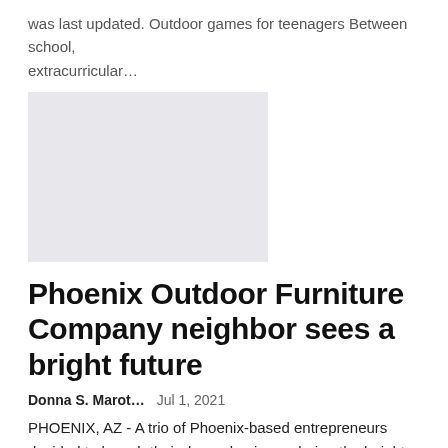was last updated. Outdoor games for teenagers Between school, extracurricular…
[Figure (other): Light gray placeholder image rectangle]
Phoenix Outdoor Furniture Company neighbor sees a bright future
Donna S. Marot…    Jul 1, 2021
PHOENIX, AZ - A trio of Phoenix-based entrepreneurs decided to launch their dream business during the height of the COVID-19 pandemic. The company in question evolved over time into an